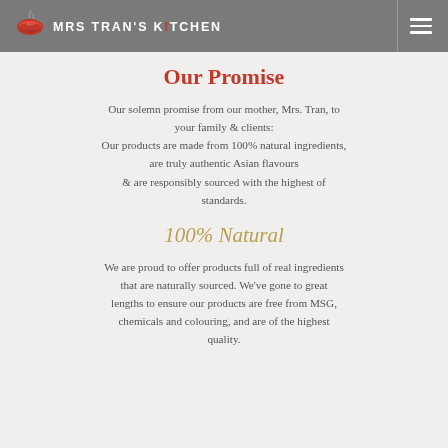MRS TRAN'S KITCHEN
Our Promise
Our solemn promise from our mother, Mrs. Tran, to your family & clients: Our products are made from 100% natural ingredients, are truly authentic Asian flavours & are responsibly sourced with the highest of standards.
100% Natural
We are proud to offer products full of real ingredients that are naturally sourced. We've gone to great lengths to ensure our products are free from MSG, chemicals and colouring, and are of the highest quality.